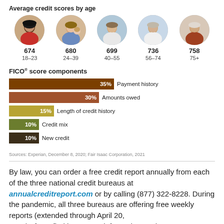Average credit scores by age
[Figure (infographic): Five circular portrait photos representing age groups, each with a credit score and age range below: 674 (18-23), 680 (24-39), 699 (40-55), 736 (56-74), 758 (75+)]
FICO® score components
[Figure (bar-chart): FICO® score components]
Sources: Experian, December 8, 2020; Fair Isaac Corporation, 2021
By law, you can order a free credit report annually from each of the three national credit bureaus at annualcreditreport.com or by calling (877) 322-8228. During the pandemic, all three bureaus are offering free weekly reports (extended through April 20, 2022). If you find inaccurate information on the